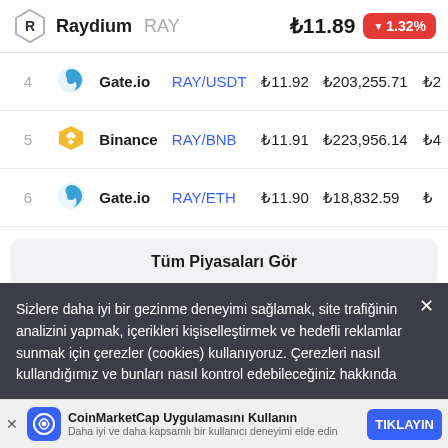Raydium RAY ₺11.89 ▼1.32%
| # | Exchange | Pair | Price | Volume 24h | ... |
| --- | --- | --- | --- | --- | --- |
| 4 | Gate.io | RAY/USDT | ₺11.92 | ₺203,255.71 | ₺2... |
| 5 | Binance | RAY/BNB | ₺11.91 | ₺223,956.14 | ₺4... |
| 6 | Gate.io | RAY/ETH | ₺11.90 | ₺18,832.59 | ₺... |
Tüm Piyasaları Gör
Sizlere daha iyi bir gezinme deneyimi sağlamak, site trafiğinin analizini yapmak, içerikleri kişiselleştirmek ve hedefli reklamlar sunmak için çerezler (cookies) kullanıyoruz. Çerezleri nasıl kullandığımız ve bunları nasıl kontrol edebileceğiniz hakkında
CoinMarketCap Uygulamasını Kullanın Daha iyi ve daha kapsamlı bir kullanıcı deneyimi elde edin TIKLAYIN